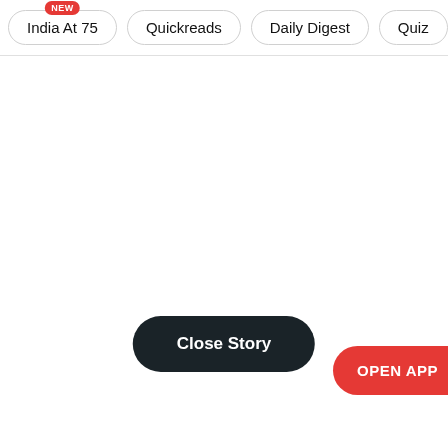India At 75 | Quickreads | Daily Digest | Quiz | V
OPEN APP
Close Story